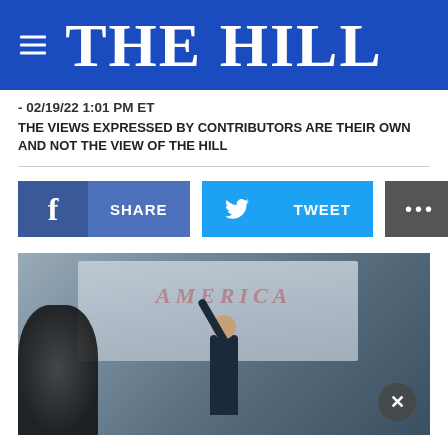THE HILL
- 02/19/22 1:01 PM ET
THE VIEWS EXPRESSED BY CONTRIBUTORS ARE THEIR OWN AND NOT THE VIEW OF THE HILL
[Figure (other): Social media share buttons: Facebook SHARE, Twitter TWEET, and MORE (with ellipsis)]
[Figure (photo): A man in a suit raising his arm holding a small American flag at what appears to be a naturalization ceremony or patriotic event. Behind him is a screen displaying 'AMERICA'. Audience members are visible holding American flags.]